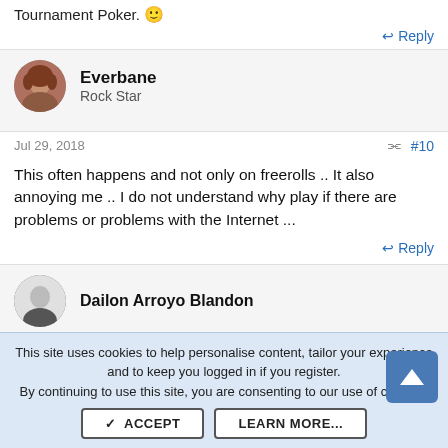Tournament Poker. 😊
↩ Reply
Everbane
Rock Star
Jul 29, 2018   #10
This often happens and not only on freerolls .. It also annoying me .. I do not understand why play if there are problems or problems with the Internet ...
↩ Reply
Dailon Arroyo Blandon
This site uses cookies to help personalise content, tailor your experience and to keep you logged in if you register.
By continuing to use this site, you are consenting to our use of cookies.